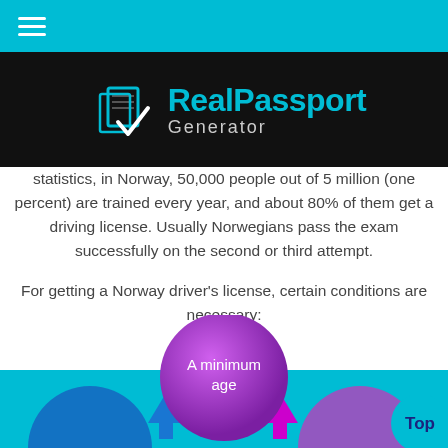RealPassport Generator
statistics, in Norway, 50,000 people out of 5 million (one percent) are trained every year, and about 80% of them get a driving license. Usually Norwegians pass the exam successfully on the second or third attempt.
For getting a Norway driver's license, certain conditions are necessary:
[Figure (infographic): Circular infographic with a central purple circle labeled 'A minimum age', blue arrow pointing up-left, magenta arrow pointing up-right, and partial circles at bottom left and right. Cyan 'Top' button at bottom right.]